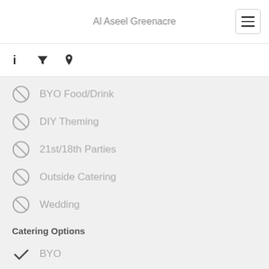Al Aseel Greenacre
BYO Food/Drink
DIY Theming
21st/18th Parties
Outside Catering
Wedding
Catering Options
BYO
Gluten Free